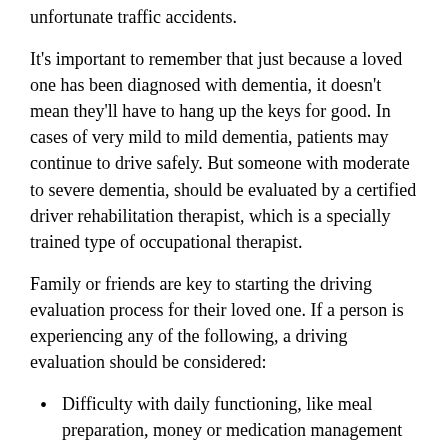unfortunate traffic accidents.
It's important to remember that just because a loved one has been diagnosed with dementia, it doesn't mean they'll have to hang up the keys for good. In cases of very mild to mild dementia, patients may continue to drive safely. But someone with moderate to severe dementia, should be evaluated by a certified driver rehabilitation therapist, which is a specially trained type of occupational therapist.
Family or friends are key to starting the driving evaluation process for their loved one. If a person is experiencing any of the following, a driving evaluation should be considered:
Difficulty with daily functioning, like meal preparation, money or medication management
Forgetting conversations, repeating oneself or having a hard time finding words in conversation
Visible changes in driving skills that clearly impact their